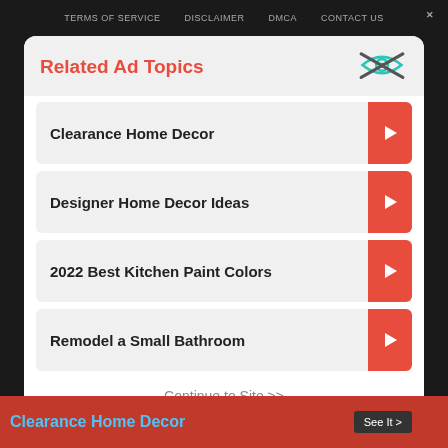TERMS OF SERVICE   DISCLAIMER   DMCA   CONTACT US
Related Ad Topics
Clearance Home Decor
Designer Home Decor Ideas
2022 Best Kitchen Paint Colors
Remodel a Small Bathroom
Continue to Site >>
Clearance Home Decor
See It >